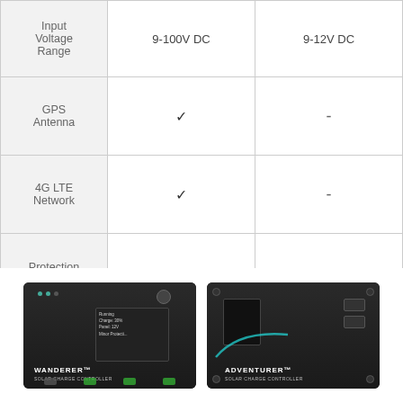|  | Product A | Product B |
| --- | --- | --- |
| Input Voltage Range | 9-100V DC | 9-12V DC |
| GPS Antenna | ✓ | - |
| 4G LTE Network | ✓ | - |
| Protection Grade | IP30 | IP54 |
[Figure (photo): Two solar charge controllers side by side: a Wanderer solar charge controller (left, rectangular black device with green LED buttons) and an Adventurer solar charge controller (right, black square device with LCD screen and control buttons)]